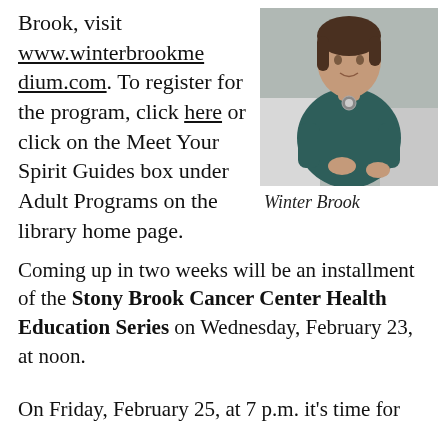Brook, visit www.winterbrookmedium.com. To register for the program, click here or click on the Meet Your Spirit Guides box under Adult Programs on the library home page.
[Figure (photo): Photo of Winter Brook, a woman in a dark teal sweater seated on a white couch]
Winter Brook
Coming up in two weeks will be an installment of the Stony Brook Cancer Center Health Education Series on Wednesday, February 23, at noon.
On Friday, February 25, at 7 p.m. it's time for